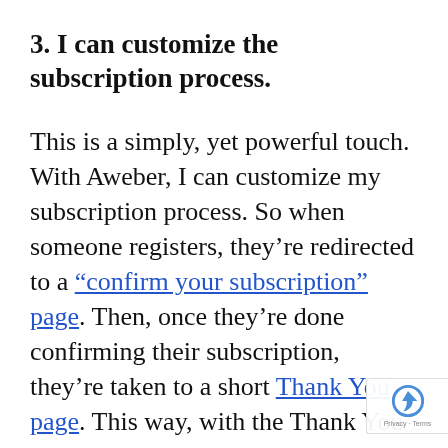3. I can customize the subscription process.
This is a simply, yet powerful touch. With Aweber, I can customize my subscription process. So when someone registers, they’re redirected to a “confirm your subscription” page. Then, once they’re done confirming their subscription, they’re taken to a short Thank You page. This way, with the Thank You page, I can control the content I link people to